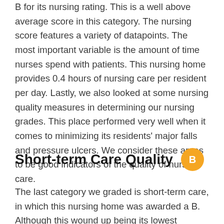B for its nursing rating. This is a well above average score in this category. The nursing score features a variety of datapoints. The most important variable is the amount of time nurses spend with patients. This nursing home provides 0.4 hours of nursing care per resident per day. Lastly, we also looked at some nursing quality measures in determining our nursing grades. This place performed very well when it comes to minimizing its residents' major falls and pressure ulcers. We consider these areas to be good indicators of the quality of nursing care.
Short-term Care Quality B
The last category we graded is short-term care, in which this nursing home was awarded a B. Although this wound up being its lowest category score, this is